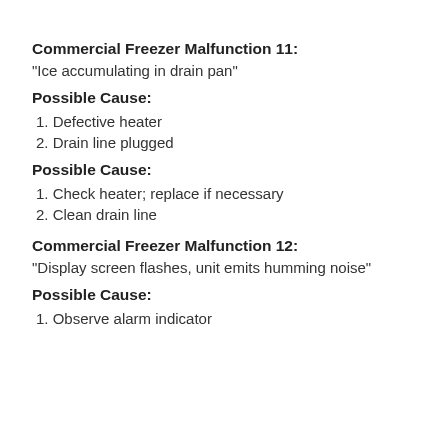Commercial Freezer Malfunction 11:
"Ice accumulating in drain pan"
Possible Cause:
1. Defective heater
2. Drain line plugged
Possible Cause:
1. Check heater; replace if necessary
2. Clean drain line
Commercial Freezer Malfunction 12:
"Display screen flashes, unit emits humming noise"
Possible Cause:
1. Observe alarm indicator